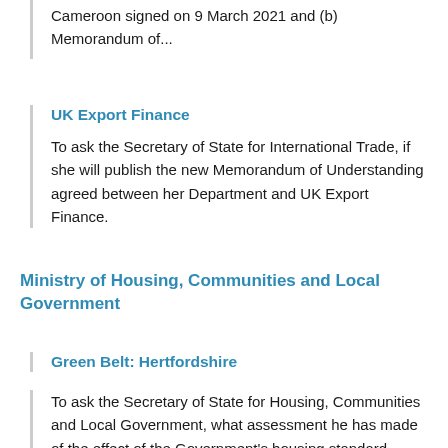Cameroon signed on 9 March 2021 and (b) Memorandum of...
UK Export Finance
To ask the Secretary of State for International Trade, if she will publish the new Memorandum of Understanding agreed between her Department and UK Export Finance.
Ministry of Housing, Communities and Local Government
Green Belt: Hertfordshire
To ask the Secretary of State for Housing, Communities and Local Government, what assessment he has made of the effect of the Government's housing standard methodology on the greenbelt in...